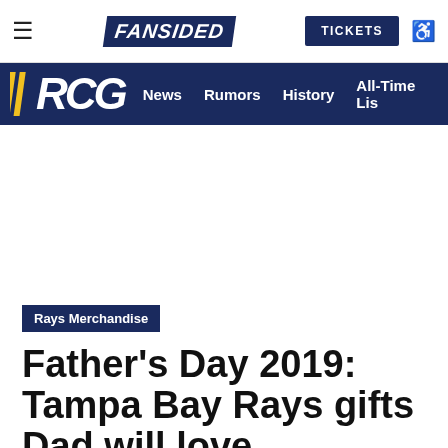FANSIDED | TICKETS
RCG | News | Rumors | History | All-Time Lis
Rays Merchandise
Father's Day 2019: Tampa Bay Rays gifts Dad will love